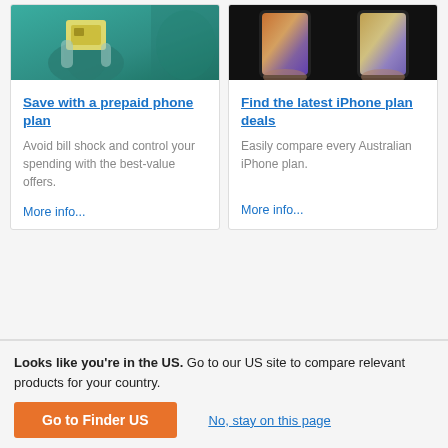[Figure (photo): Hand holding a SIM card, person wearing teal/green top, blurred background]
[Figure (photo): Two hands holding iPhones with colorful displays against dark background]
Save with a prepaid phone plan
Avoid bill shock and control your spending with the best-value offers.
More info...
Find the latest iPhone plan deals
Easily compare every Australian iPhone plan.
More info...
Looks like you're in the US. Go to our US site to compare relevant products for your country.
Go to Finder US
No, stay on this page